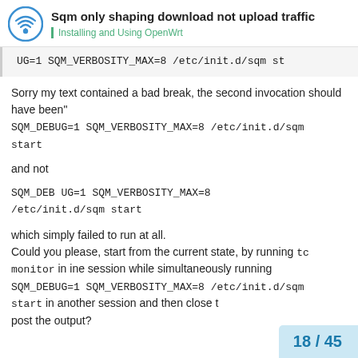Sqm only shaping download not upload traffic | Installing and Using OpenWrt
UG=1 SQM_VERBOSITY_MAX=8 /etc/init.d/sqm st
Sorry my text contained a bad break, the second invocation should have been"
SQM_DEBUG=1 SQM_VERBOSITY_MAX=8 /etc/init.d/sqm
start
and not
SQM_DEB UG=1 SQM_VERBOSITY_MAX=8
/etc/init.d/sqm start
which simply failed to run at all.
Could you please, start from the current state, by running tc monitor in ine session while simultaneously running SQM_DEBUG=1 SQM_VERBOSITY_MAX=8 /etc/init.d/sqm start in another session and then close t post the output?